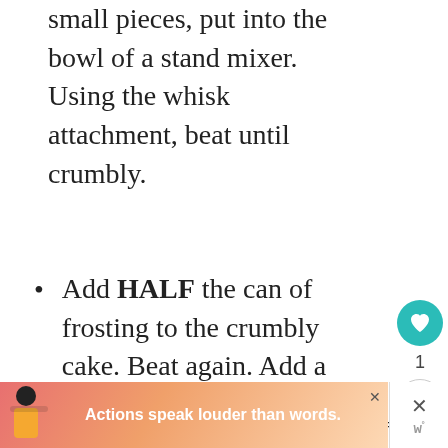small pieces, put into the bowl of a stand mixer. Using the whisk attachment, beat until crumbly.
Add HALF the can of frosting to the crumbly cake. Beat again. Add a tiny bit more to get a moist, dough like